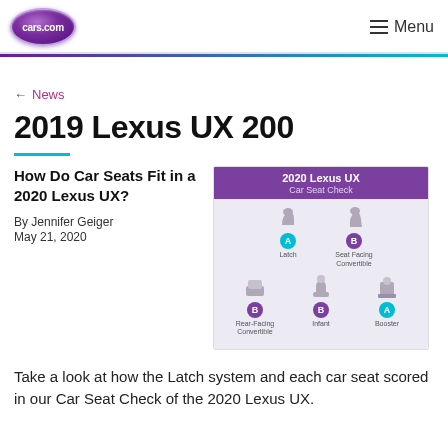cars.com   Menu
← News
2019 Lexus UX 200
How Do Car Seats Fit in a 2020 Lexus UX?
By Jennifer Geiger
May 21, 2020
[Figure (infographic): 2020 Lexus UX Car Seat Check infographic showing seat positions with A and B ratings: Latch (A), Seat-Facing Convertible (B) in top row; Rear-Facing Convertible (B), Infant (B), Booster (A) in bottom row.]
Take a look at how the Latch system and each car seat scored in our Car Seat Check of the 2020 Lexus UX.